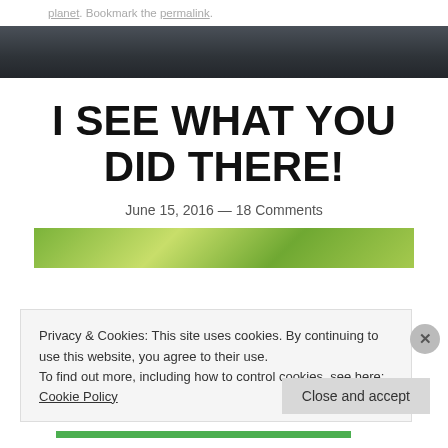planet. Bookmark the permalink.
[Figure (photo): Dark gray/charcoal website header banner]
I SEE WHAT YOU DID THERE!
June 15, 2016 — 18 Comments
[Figure (photo): Green foliage/plant leaves photograph]
Privacy & Cookies: This site uses cookies. By continuing to use this website, you agree to their use.
To find out more, including how to control cookies, see here: Cookie Policy
Close and accept